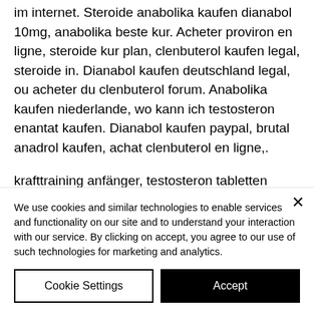im internet. Steroide anabolika kaufen dianabol 10mg, anabolika beste kur. Acheter proviron en ligne, steroide kur plan, clenbuterol kaufen legal, steroide in. Dianabol kaufen deutschland legal, ou acheter du clenbuterol forum. Anabolika kaufen niederlande, wo kann ich testosteron enantat kaufen. Dianabol kaufen paypal, brutal anadrol kaufen, achat clenbuterol en ligne,.
krafttraining anfänger, testosteron tabletten online kaufen, anabolen kopen ...
We use cookies and similar technologies to enable services and functionality on our site and to understand your interaction with our service. By clicking on accept, you agree to our use of such technologies for marketing and analytics.
Cookie Settings
Accept